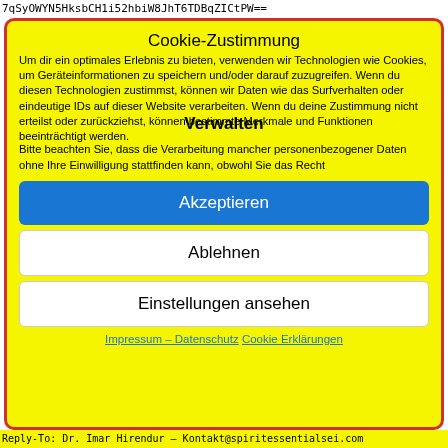7qSyOWYN5HksbCH1i52hbiW8JhT6TDBqZICtPW==
Cookie-Zustimmung
Um dir ein optimales Erlebnis zu bieten, verwenden wir Technologien wie Cookies, um Geräteinformationen zu speichern und/oder darauf zuzugreifen. Wenn du diesen Technologien zustimmst, können wir Daten wie das Surfverhalten oder eindeutige IDs auf dieser Website verarbeiten. Wenn du deine Zustimmung nicht erteilst oder zurückziehst, können bestimmte Merkmale und Funktionen beeinträchtigt werden.
Verwalten
Bitte beachten Sie, dass die Verarbeitung mancher personenbezogener Daten ohne Ihre Einwilligung stattfinden kann, obwohl Sie das Recht
Akzeptieren
Ablehnen
Einstellungen ansehen
Impressum – Datenschutz   Cookie Erklärungen
Reply-To: Dr. Imar Hirendur – Kontakt@spiritessentialsei.com